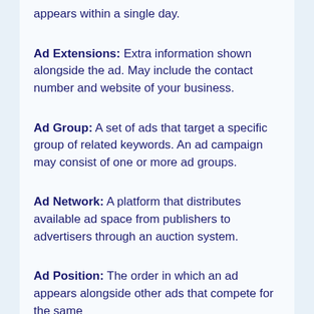appears within a single day.
Ad Extensions: Extra information shown alongside the ad. May include the contact number and website of your business.
Ad Group: A set of ads that target a specific group of related keywords. An ad campaign may consist of one or more ad groups.
Ad Network: A platform that distributes available ad space from publishers to advertisers through an auction system.
Ad Position: The order in which an ad appears alongside other ads that compete for the same